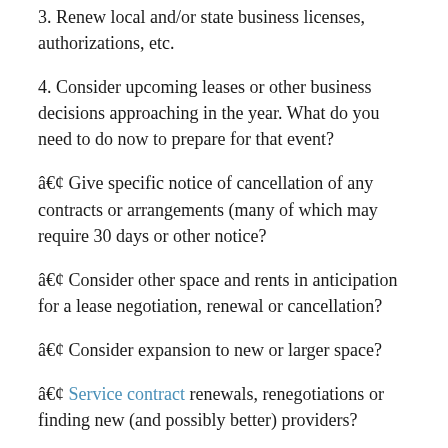3. Renew local and/or state business licenses, authorizations, etc.
4. Consider upcoming leases or other business decisions approaching in the year. What do you need to do now to prepare for that event?
• Give specific notice of cancellation of any contracts or arrangements (many of which may require 30 days or other notice?
• Consider other space and rents in anticipation for a lease negotiation, renewal or cancellation?
• Consider expansion to new or larger space?
• Service contract renewals, renegotiations or finding new (and possibly better) providers?
• Etc.